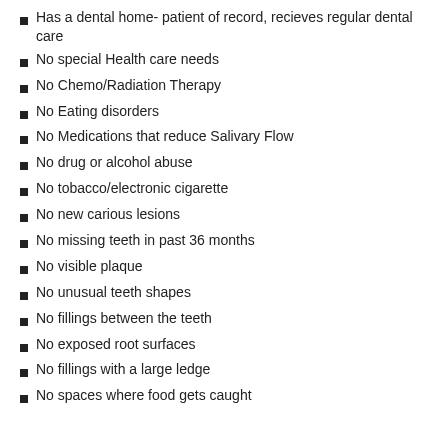Has a dental home- patient of record, recieves regular dental care
No special Health care needs
No Chemo/Radiation Therapy
No Eating disorders
No Medications that reduce Salivary Flow
No drug or alcohol abuse
No tobacco/electronic cigarette
No new carious lesions
No missing teeth in past 36 months
No visible plaque
No unusual teeth shapes
No fillings between the teeth
No exposed root surfaces
No fillings with a large ledge
No spaces where food gets caught